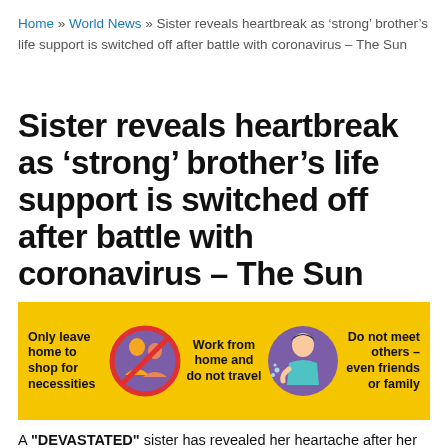Home » World News » Sister reveals heartbreak as 'strong' brother's life support is switched off after battle with coronavirus – The Sun
Sister reveals heartbreak as 'strong' brother's life support is switched off after battle with coronavirus – The Sun
[Figure (infographic): Yellow banner with three COVID-19 safety tips: 'Only leave home to shop for necessities' with icon of people with no symbol, 'Work from home and do not travel' with icon of person coughing, 'Do not meet others – even friends or family']
A "DEVASTATED" sister has revealed her heartache after her